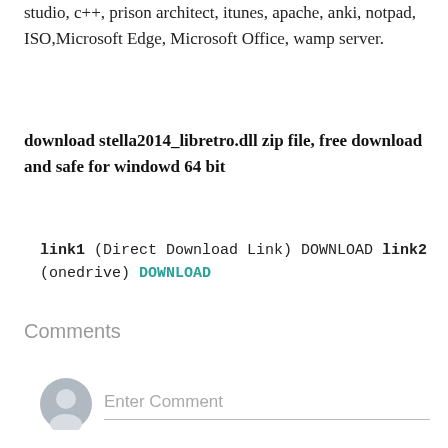studio, c++, prison architect, itunes, apache, anki, notpad, ISO,Microsoft Edge, Microsoft Office, wamp server.
download stella2014_libretro.dll zip file, free download and safe for windowd 64 bit
link1 (Direct Download Link) DOWNLOAD link2 (onedrive) DOWNLOAD
Comments
Enter Comment